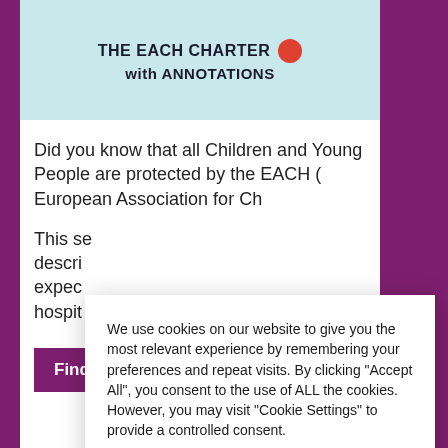[Figure (illustration): THE EACH CHARTER with ANNOTATIONS book cover on light blue background with red circle logo]
Did you know that all Children and Young People are protected by the EACH ( European Association for Ch...
This se... descri... expec... hospit...
Find ...
We use cookies on our website to give you the most relevant experience by remembering your preferences and repeat visits. By clicking "Accept All", you consent to the use of ALL the cookies. However, you may visit "Cookie Settings" to provide a controlled consent.
Cookie Settings
Accept All